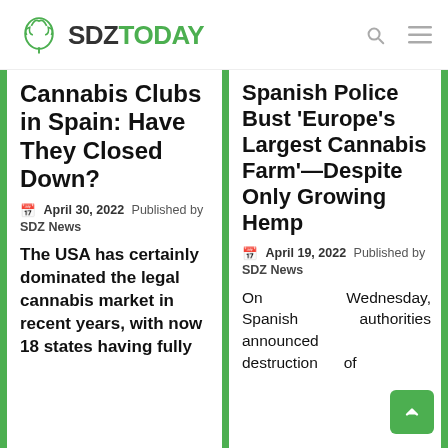SDZ TODAY
Cannabis Clubs in Spain: Have They Closed Down?
April 30, 2022 Published by SDZ News
The USA has certainly dominated the legal cannabis market in recent years, with now 18 states having fully
Spanish Police Bust 'Europe's Largest Cannabis Farm'—Despite Only Growing Hemp
April 19, 2022 Published by SDZ News
On Wednesday, Spanish authorities announced destruction of